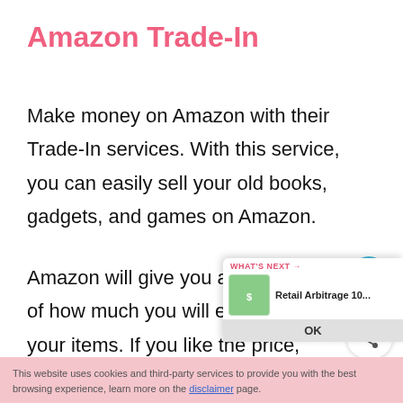Amazon Trade-In
Make money on Amazon with their Trade-In services. With this service, you can easily sell your old books, gadgets, and games on Amazon.
Amazon will give you an estimate of how much you will earn from your items. If you like the price, you simply send in your items
This website uses cookies and third-party services to provide you with the best browsing experience, learn more on the disclaimer page.